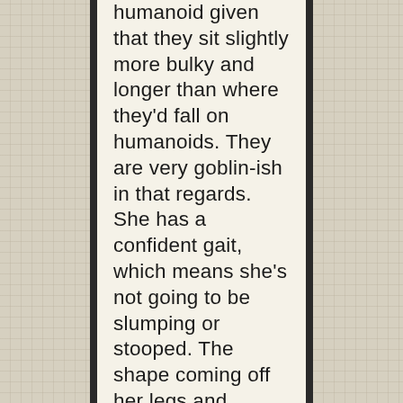humanoid given that they sit slightly more bulky and longer than where they'd fall on humanoids. They are very goblin-ish in that regards. She has a confident gait, which means she's not going to be slumping or stooped. The shape coming off her legs and midsection suggests a swinging tassel or tabard. It's unspeakably Asian-influenced too, with the hair sticks. There's still a lot of things that trouble me with regards to the Pandaren and Pan-Asian influences,